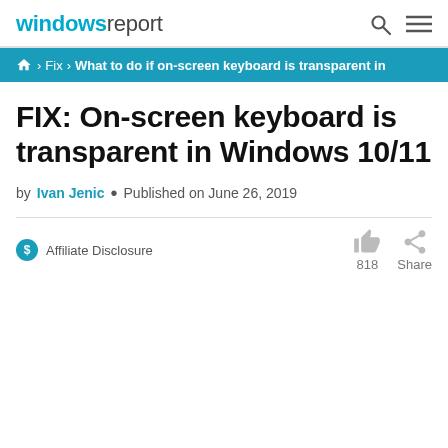windows report
Home › Fix › What to do if on-screen keyboard is transparent in
FIX: On-screen keyboard is transparent in Windows 10/11
by Ivan Jenic • Published on June 26, 2019
Affiliate Disclosure
818 Share